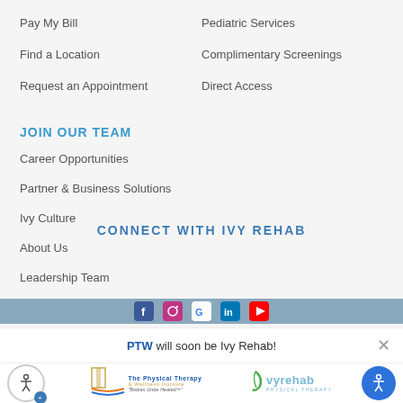Pay My Bill
Find a Location
Request an Appointment
Pediatric Services
Complimentary Screenings
Direct Access
JOIN OUR TEAM
Career Opportunities
Partner & Business Solutions
Ivy Culture
About Us
Leadership Team
CONNECT WITH IVY REHAB
[Figure (infographic): Social media icons bar with Facebook, Instagram, Google, LinkedIn, and YouTube icons on a blue-grey background]
PTW will soon be Ivy Rehab!
[Figure (logo): PTW - The Physical Therapy & Wellness Institute logo on the left, Ivy Rehab Physical Therapy logo on the right, with accessibility icons on both far ends]